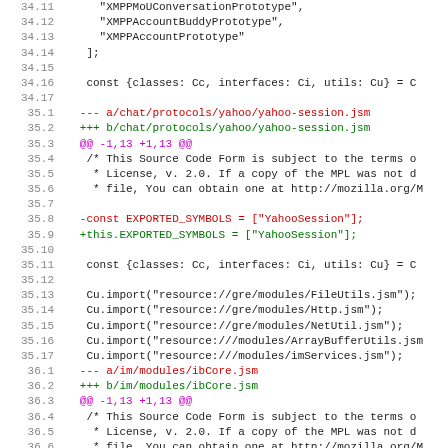Code diff showing changes to yahoo-session.jsm, ibCore.jsm and related files. Lines 34.11-36.8 shown.